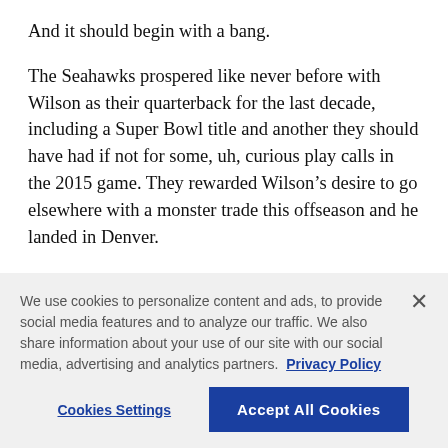And it should begin with a bang.
The Seahawks prospered like never before with Wilson as their quarterback for the last decade, including a Super Bowl title and another they should have had if not for some, uh, curious play calls in the 2015 game. They rewarded Wilson’s desire to go elsewhere with a monster trade this offseason and he landed in Denver.
Now, thanks to the NFL’s desire to play off such storylines, the opening Monday night game of the
We use cookies to personalize content and ads, to provide social media features and to analyze our traffic. We also share information about your use of our site with our social media, advertising and analytics partners.  Privacy Policy
Cookies Settings
Accept All Cookies